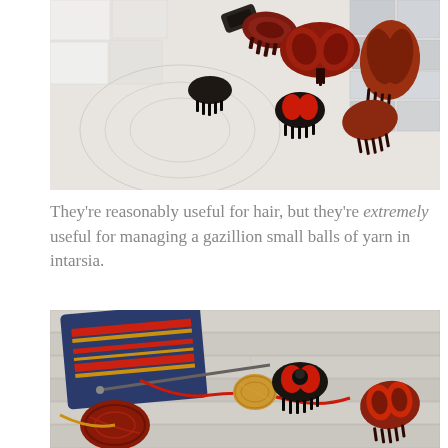[Figure (photo): Top-down photo of multiple decorative hair claw clips in dark red/tortoiseshell and black colors scattered on a white mosaic tile surface.]
They're reasonably useful for hair, but they're extremely useful for managing a gazillion small balls of yarn in intarsia.
[Figure (photo): Photo of knitting project with colorful intarsia yarn (blue, red, gold) on wooden floor boards, with black and tortoiseshell hair claw clips holding small balls of red and gold yarn, and knitting needles visible.]